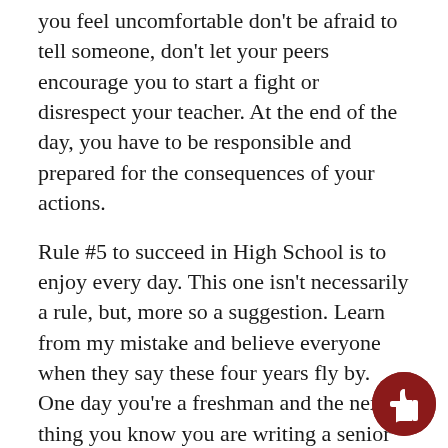you feel uncomfortable don't be afraid to tell someone, don't let your peers encourage you to start a fight or disrespect your teacher. At the end of the day, you have to be responsible and prepared for the consequences of your actions.
Rule #5 to succeed in High School is to enjoy every day. This one isn't necessarily a rule, but, more so a suggestion. Learn from my mistake and believe everyone when they say these four years fly by. One day you're a freshman and the next thing you know you are writing a senior article on your high school experience. High School can be boring, it can be stressful, it can be annoying, but it will always be memorable. All of the classmates, teammates, and teachers you met over the years will be a part of a memory you keep forever. High School can be tough make the best of it and follow the rules. No matter wh
[Figure (illustration): A dark red circular button with a white thumbs-up icon, positioned in the bottom-right corner of the page.]